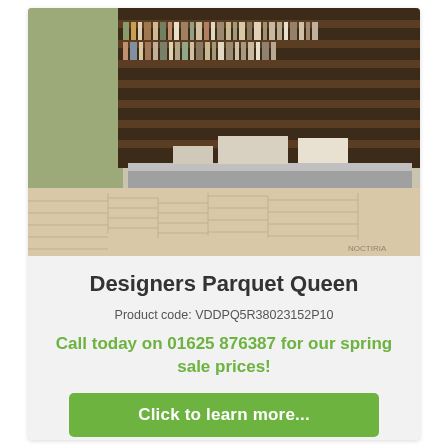[Figure (photo): Interior room photo showing parquet wood floor with a library/bookshelf wall background, a gray counter/desk, and two wooden stools. The floor features a herringbone or patterned parquet design in light beige tones.]
Designers Parquet Queen
Product code: VDDPQ5R38023152P10
Call today on 01625 876387 for our spring sale prices!
Click to learn more...